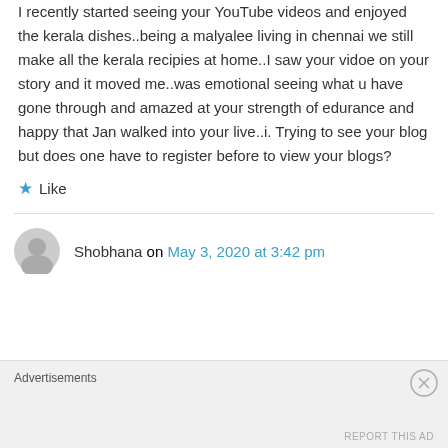I recently started seeing your YouTube videos and enjoyed the kerala dishes..being a malyalee living in chennai we still make all the kerala recipies at home..I saw your vidoe on your story and it moved me..was emotional seeing what u have gone through and amazed at your strength of edurance and happy that Jan walked into your live..i. Trying to see your blog but does one have to register before to view your blogs?
★ Like
Shobhana on May 3, 2020 at 3:42 pm
Advertisements